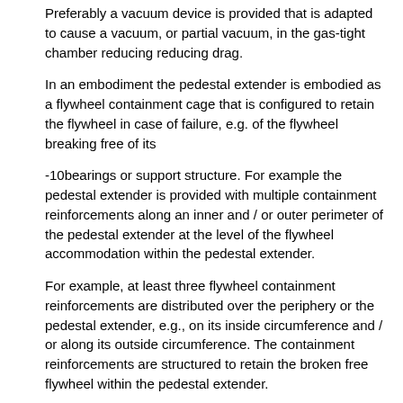Preferably a vacuum device is provided that is adapted to cause a vacuum, or partial vacuum, in the gas-tight chamber reducing reducing drag.
In an embodiment the pedestal extender is embodied as a flywheel containment cage that is configured to retain the flywheel in case of failure, e.g. of the flywheel breaking free of its
-10bearings or support structure. For example the pedestal extender is provided with multiple containment reinforcements along an inner and / or outer perimeter of the pedestal extender at the level of the flywheel accommodation within the pedestal extender.
For example, at least three flywheel containment reinforcements are distributed over the periphery or the pedestal extender, e.g., on its inside circumference and / or along its outside circumference. The containment reinforcements are structured to retain the broken free flywheel within the pedestal extender.
In a preferred embodiment it is envisaged that the pedestal extender is provided on its exterior with multiple